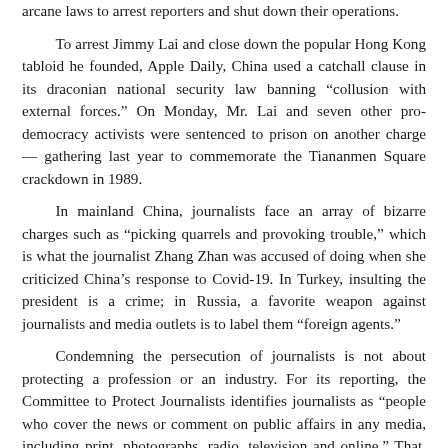arcane laws to arrest reporters and shut down their operations.

To arrest Jimmy Lai and close down the popular Hong Kong tabloid he founded, Apple Daily, China used a catchall clause in its draconian national security law banning “collusion with external forces.” On Monday, Mr. Lai and seven other pro-democracy activists were sentenced to prison on another charge — gathering last year to commemorate the Tiananmen Square crackdown in 1989.

In mainland China, journalists face an array of bizarre charges such as “picking quarrels and provoking trouble,” which is what the journalist Zhang Zhan was accused of doing when she criticized China’s response to Covid-19. In Turkey, insulting the president is a crime; in Russia, a favorite weapon against journalists and media outlets is to label them “foreign agents.”

Condemning the persecution of journalists is not about protecting a profession or an industry. For its reporting, the Committee to Protect Journalists identifies journalists as “people who cover the news or comment on public affairs in any media, including print, photographs, radio, television and online.” That, with the internet and social media, covers a vast array of people who are basically exercising their fundamental right to speak out